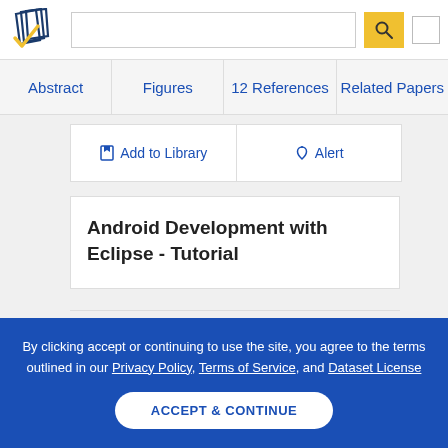[Figure (logo): Semantic Scholar logo - stylized book pages with gold checkmark]
Abstract | Figures | 12 References | Related Papers
Add to Library | Alert
Android Development with Eclipse - Tutorial
By clicking accept or continuing to use the site, you agree to the terms outlined in our Privacy Policy, Terms of Service, and Dataset License
ACCEPT & CONTINUE